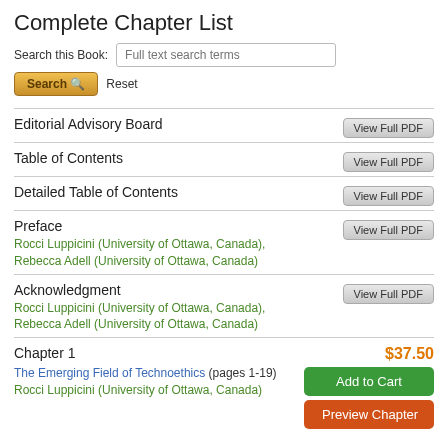Complete Chapter List
Search this Book: Full text search terms
Editorial Advisory Board | View Full PDF
Table of Contents | View Full PDF
Detailed Table of Contents | View Full PDF
Preface | View Full PDF
Rocci Luppicini (University of Ottawa, Canada), Rebecca Adell (University of Ottawa, Canada)
Acknowledgment | View Full PDF
Rocci Luppicini (University of Ottawa, Canada), Rebecca Adell (University of Ottawa, Canada)
Chapter 1 $37.50
The Emerging Field of Technoethics (pages 1-19) | Add to Cart
Rocci Luppicini (University of Ottawa, Canada) | Preview Chapter